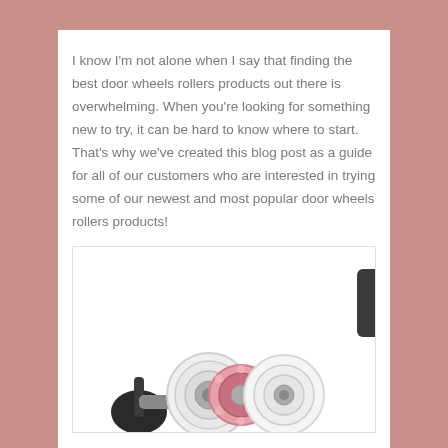I know I'm not alone when I say that finding the best door wheels rollers products out there is overwhelming. When you're looking for something new to try, it can be hard to know where to start. That's why we've created this blog post as a guide for all of our customers who are interested in trying some of our newest and most popular door wheels rollers products!
[Figure (photo): Photo of door wheel roller products - circular plastic/metal roller components with pink decorative bearing visible, partially cropped at bottom of page]